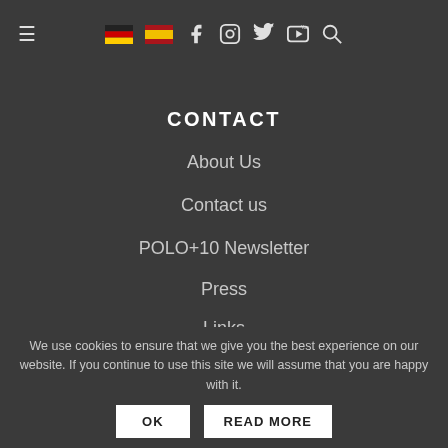≡ [flag-de] [flag-es] f [instagram] [twitter] [youtube] [search]
CONTACT
About Us
Contact us
POLO+10 Newsletter
Press
Links
Cooperations
We use cookies to ensure that we give you the best experience on our website. If you continue to use this site we will assume that you are happy with it.
OK  READ MORE